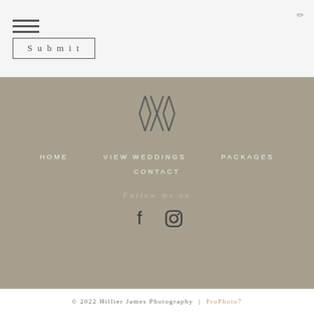[Figure (screenshot): Top section with hamburger menu icon, pencil/edit icon in top right, and a Submit button with border]
[Figure (logo): Hillier James Photography monogram logo - two overlapping diamond/X shapes]
HOME
VIEW WEDDINGS
PACKAGES
CONTACT
Follow me on
[Figure (illustration): Facebook and Instagram social media icons]
© 2022 Hillier James Photography | ProPhoto7